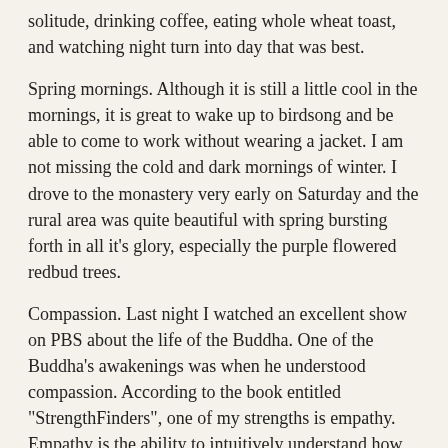solitude, drinking coffee, eating whole wheat toast, and watching night turn into day that was best.
Spring mornings. Although it is still a little cool in the mornings, it is great to wake up to birdsong and be able to come to work without wearing a jacket. I am not missing the cold and dark mornings of winter. I drove to the monastery very early on Saturday and the rural area was quite beautiful with spring bursting forth in all it's glory, especially the purple flowered redbud trees.
Compassion. Last night I watched an excellent show on PBS about the life of the Buddha. One of the Buddha's awakenings was when he understood compassion. According to the book entitled "StrengthFinders", one of my strengths is empathy. Empathy is the ability to intuitively understand how others feel. Compassion takes empathy to the next level. When you are compassionate, not only do you understand how other's feel, you care, and you act accordingly. Compassion is treating others with the same care and concern you would like to be treated yourself. Compassion is the Golden Rule, i.e., do unto others as you would like them to do unto you.